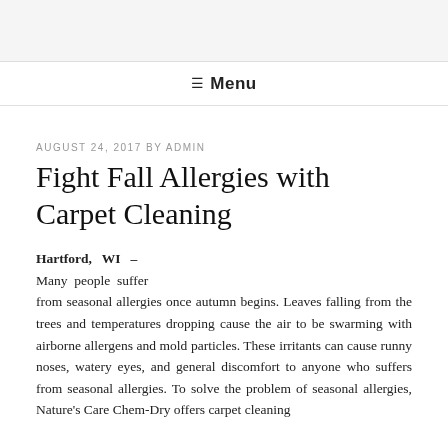≡ Menu
AUGUST 24, 2017 BY ADMIN
Fight Fall Allergies with Carpet Cleaning
Hartford, WI – Many people suffer from seasonal allergies once autumn begins. Leaves falling from the trees and temperatures dropping cause the air to be swarming with airborne allergens and mold particles. These irritants can cause runny noses, watery eyes, and general discomfort to anyone who suffers from seasonal allergies. To solve the problem of seasonal allergies, Nature's Care Chem-Dry offers carpet cleaning